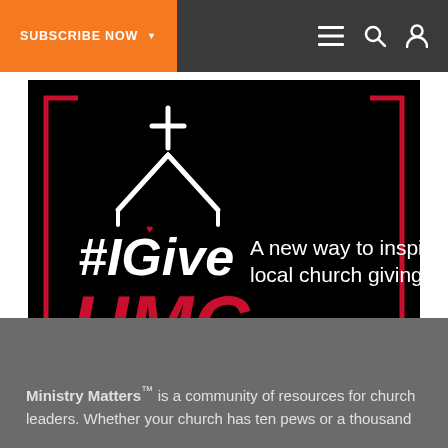SUBSCRIBE NOW  ☰ 🔍 👤
[Figure (illustration): #IGive UMC advertisement banner. Black background with red bracket border. White church icon with cross at top. Text: '#IGive' in white and 'UMC' in large red bold letters on the left. Right side text: 'A new way to inspire local church giving!' in white. Red bottom bar with bold white text 'LEARN MORE'.]
Ministry Matters™ is a community of resources for church leaders. Whether your church has ten pews or a thousand